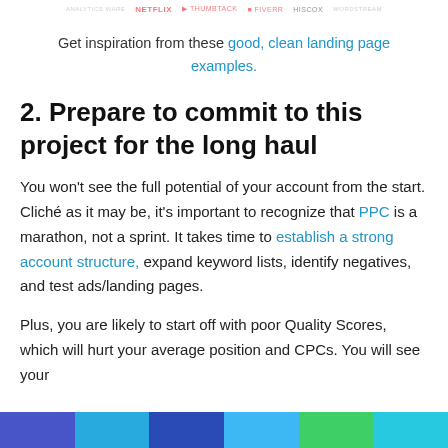[Figure (other): Top strip showing company logos including Netflix, Hiscox and others, partially visible at the top of the page]
Get inspiration from these good, clean landing page examples.
2. Prepare to commit to this project for the long haul
You won't see the full potential of your account from the start. Cliché as it may be, it's important to recognize that PPC is a marathon, not a sprint. It takes time to establish a strong account structure, expand keyword lists, identify negatives, and test ads/landing pages.
Plus, you are likely to start off with poor Quality Scores, which will hurt your average position and CPCs. You will see your
[Figure (other): Color bar at the bottom with five colored segments: blue, light blue, dark blue, green, and light blue/teal]